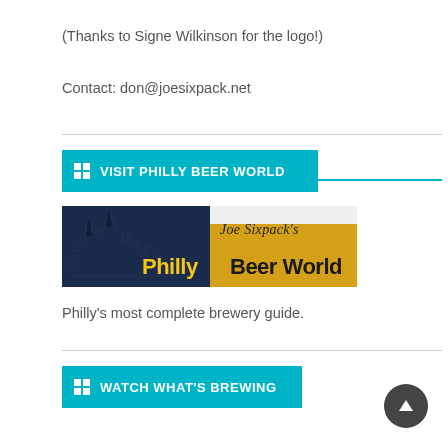(Thanks to Signe Wilkinson for the logo!)
Contact: don@joesixpack.net
VISIT PHILLY BEER WORLD
[Figure (logo): Joe Sixpack's Philly Beer World logo — city skyline silhouette in navy blue on left half, golden beer background on right half with bold yellow and black text reading 'Joe Sixpack's Philly Beer World']
Philly's most complete brewery guide.
WATCH WHAT'S BREWING